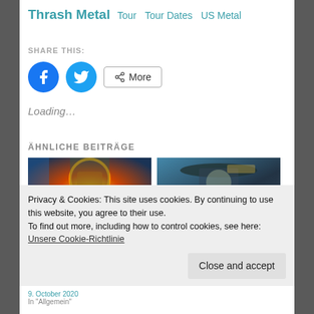Thrash Metal  Tour  Tour Dates  US Metal
SHARE THIS:
[Figure (other): Social share buttons: Facebook (blue circle), Twitter (blue circle), More button with share icon]
Loading...
ÄHNLICHE BEITRÄGE
[Figure (photo): Two album/event artwork images side by side: left shows a fire and mystic figure scene; right shows a detective-style figure with hat]
Privacy & Cookies: This site uses cookies. By continuing to use this website, you agree to their use.
To find out more, including how to control cookies, see here: Unsere Cookie-Richtlinie
Close and accept
9. October 2020
In "Allgemein"